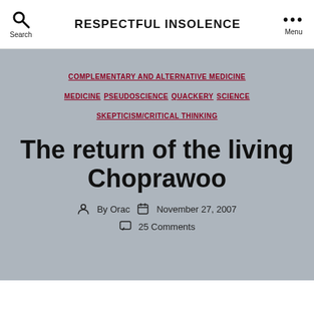RESPECTFUL INSOLENCE
COMPLEMENTARY AND ALTERNATIVE MEDICINE
MEDICINE
PSEUDOSCIENCE
QUACKERY
SCIENCE
SKEPTICISM/CRITICAL THINKING
The return of the living Choprawoo
By Orac   November 27, 2007   25 Comments